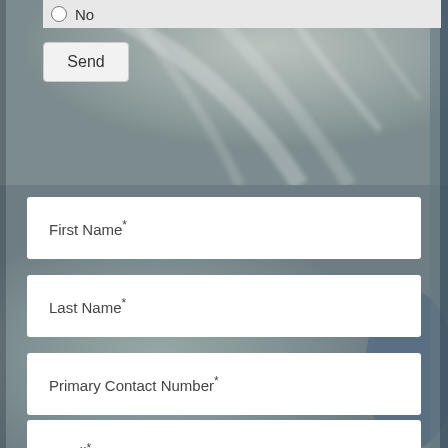[Figure (photo): Blurred background photo showing leaf texture and fabric/clothing, with grey-blue tones. A web form overlay is positioned on top.]
No
Send
First Name*
Last Name*
Primary Contact Number*
Email*